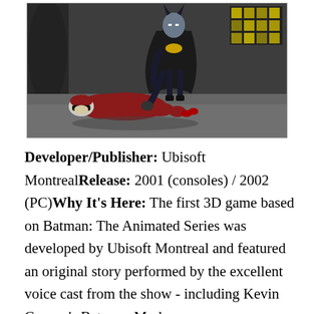[Figure (screenshot): 3D game screenshot showing Batman (in dark costume with yellow emblem) standing over a fallen female character in red dress on a dark rooftop environment with grid-patterned windows in background]
Developer/Publisher: Ubisoft MontrealRelease: 2001 (consoles) / 2002 (PC)Why It's Here: The first 3D game based on Batman: The Animated Series was developed by Ubisoft Montreal and featured an original story performed by the excellent voice cast from the show - including Kevin Conroy's Batman, Mark